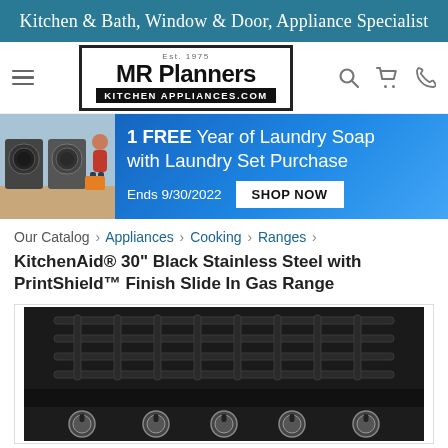Kitchen & Bath, Window & Door, Appliance Specialist
[Figure (logo): MR Planners Kitchen Appliances logo with hamburger menu, search, cart, and phone icons]
[Figure (infographic): Promotional banner: 1 FREE Year of Laundry Soap with Laundry Set Purchase. Ends 9/30/2022. SHOP NOW button. Left side shows a woman with front-load washers.]
Our Catalog › Appliances › Cooking › Ranges ›
KitchenAid® 30" Black Stainless Steel with PrintShield™ Finish Slide In Gas Range
[Figure (photo): Close-up top view of a KitchenAid black stainless steel slide-in gas range showing burner grates and five knobs]